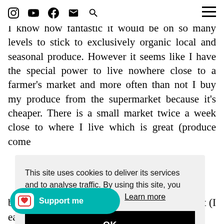[social media icons: Instagram, YouTube, Facebook, Email, Search] [hamburger menu]
I know how fantastic it would be on so many levels to stick to exclusively organic local and seasonal produce. However it seems like I have the special power to live nowhere close to a farmer's market and more often than not I buy my produce from the supermarket because it's cheaper. There is a small market twice a week close to where I live which is great (produce come ... can't ... stic ... rom ... tend ... I buy ... t for ... ms), bananas and plenty of other things I love to eat (I eat a
This site uses cookies to deliver its services and to analyse traffic. By using this site, you agree to its use of cookies. Learn more
OK
Support me